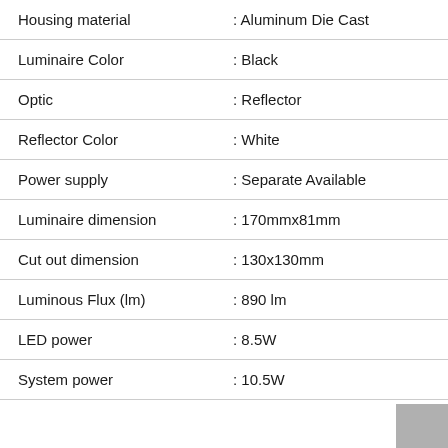| Property | Value |
| --- | --- |
| Housing material | : Aluminum Die Cast |
| Luminaire Color | : Black |
| Optic | : Reflector |
| Reflector Color | : White |
| Power supply | : Separate Available |
| Luminaire dimension | : 170mmx81mm |
| Cut out dimension | : 130x130mm |
| Luminous Flux (lm) | : 890 lm |
| LED power | : 8.5W |
| System power | : 10.5W |